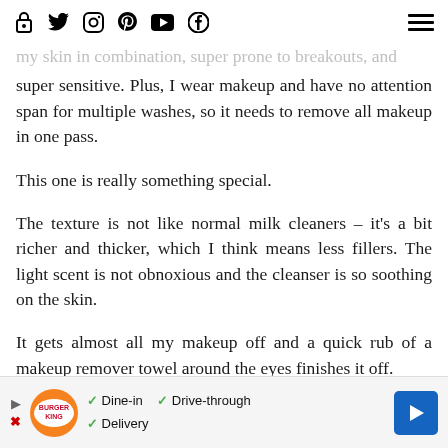[navigation icons: lock, twitter, instagram, pinterest, youtube, facebook, hamburger menu]
my skin in combination, super prone to breakouts, and super sensitive. Plus, I wear makeup and have no attention span for multiple washes, so it needs to remove all makeup in one pass.
This one is really something special.
The texture is not like normal milk cleaners – it's a bit richer and thicker, which I think means less fillers. The light scent is not obnoxious and the cleanser is so soothing on the skin.
It gets almost all my makeup off and a quick rub of a makeup remover towel around the eyes finishes it off.
This one absolutely feels like a luxury product and not something…
[Figure (other): Burger King advertisement banner with logo, Dine-in, Drive-through, Delivery checkmarks, and blue arrow navigation button]